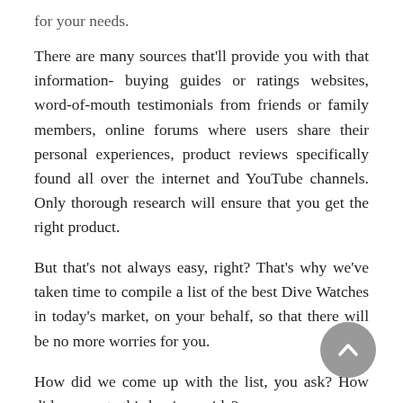for your needs.
There are many sources that'll provide you with that information- buying guides or ratings websites, word-of-mouth testimonials from friends or family members, online forums where users share their personal experiences, product reviews specifically found all over the internet and YouTube channels. Only thorough research will ensure that you get the right product.
But that's not always easy, right? That's why we've taken time to compile a list of the best Dive Watches in today's market, on your behalf, so that there will be no more worries for you.
How did we come up with the list, you ask? How did we create this buying guide?